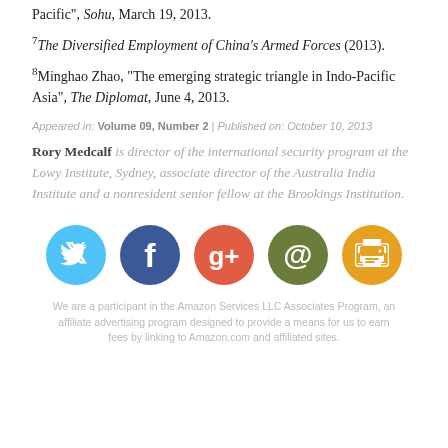Pacific", Sohu, March 19, 2013.
7The Diversified Employment of China's Armed Forces (2013).
8Minghao Zhao, "The emerging strategic triangle in Indo-Pacific Asia", The Diplomat, June 4, 2013.
Appeared in: Volume 09, Number 2 | Published on: October 10, 2013
Rory Medcalf is director of the international security program at the Lowy Institute, Sydney, associate director of the Australia India Institute and a nonresident senior fellow at the Brookings Institution.
[Figure (infographic): Five social media sharing icons in circles: Twitter (blue), Facebook (dark blue), Google+ (orange-red), Email at-symbol (olive green), Print (yellow-orange)]
We are a participant in the Amazon Services LLC Associates Program, an affiliate advertising program designed to provide a means for us to earn fees by linking to Amazon.com and affiliated sites.